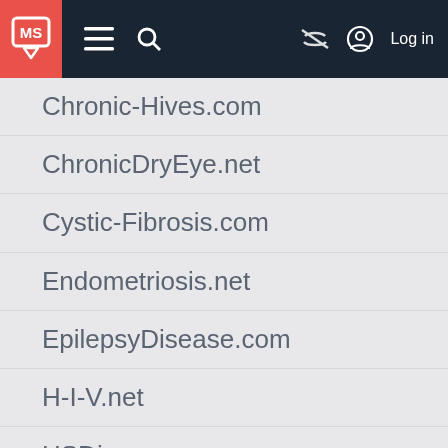MS (logo) | menu | search | hide | Log in
Chronic-Hives.com
ChronicDryEye.net
Cystic-Fibrosis.com
Endometriosis.net
EpilepsyDisease.com
H-I-V.net
HSDisease.com
Heart-Failure.net
HepatitisC.net
InflammatoryBowelDisease.net
IrritableBowelSyndrome.net
LungCancer.net